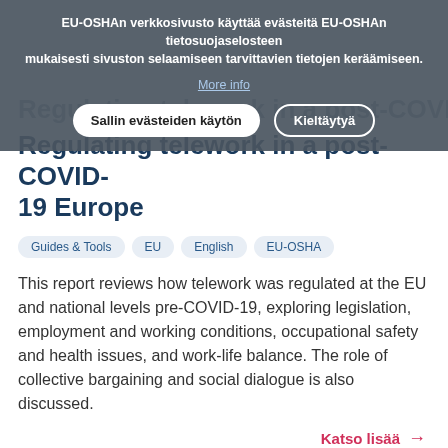EU-OSHAn verkkosivusto käyttää evästeitä EU-OSHAn tietosuojaselosteen mukaisesti sivuston selaamiseen tarvittavien tietojen keräämiseen.
More info
Sallin evästeiden käytön
Kieltäytyä
Regulating telework in a post-COVID-19 Europe
Guides & Tools
EU
English
EU-OSHA
This report reviews how telework was regulated at the EU and national levels pre-COVID-19, exploring legislation, employment and working conditions, occupational safety and health issues, and work-life balance. The role of collective bargaining and social dialogue is also discussed.
Katso lisää →